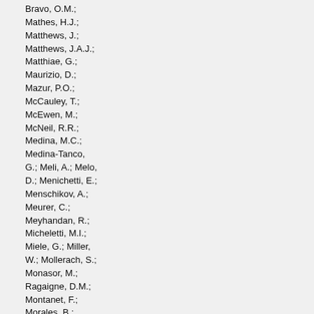Bravo, O.M.; Mathes, H.J.; Matthews, J.; Matthews, J.A.J.; Matthiae, G.; Maurizio, D.; Mazur, P.O.; McCauley, T.; McEwen, M.; McNeil, R.R.; Medina, M.C.; Medina-Tanco, G.; Meli, A.; Melo, D.; Menichetti, E.; Menschikov, A.; Meurer, C.; Meyhandan, R.; Micheletti, M.I.; Miele, G.; Miller, W.; Mollerach, S.; Monasor, M.; Ragaigne, D.M.; Montanet, F.; Morales, B.; Morello, C.; Moreno, J.C.; Morris, C.; Mostafa, M.; Muller, M.A.; Mussa, R.; Navarra, G.; Navarro, J.L.; Navas, S.; Necesal, P.; Nellen, L.; Newman-Holmes, C.; Newton, D.; Thi,